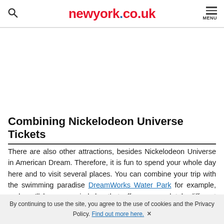newyork.co.uk
[Figure (other): Advertisement / blank area below header]
Combining Nickelodeon Universe Tickets
There are also other attractions, besides Nickelodeon Universe in American Dream. Therefore, it is fun to spend your whole day here and to visit several places. You can combine your trip with the swimming paradise DreamWorks Water Park for example, and you'll have a varied day that offers a completely different experience than the rest of your New York trip. A good plan is to
By continuing to use the site, you agree to the use of cookies and the Privacy Policy. Find out more here. ×